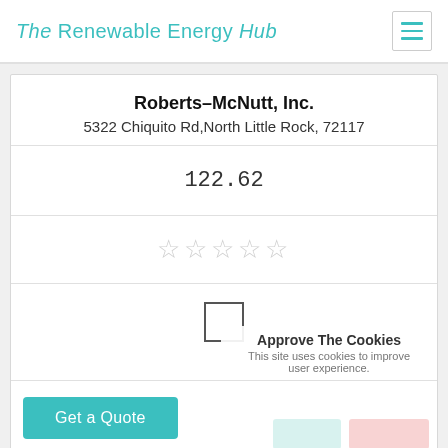The Renewable Energy Hub
Roberts-McNutt, Inc.
5322 Chiquito Rd,North Little Rock, 72117
122.62
[Figure (other): Five empty star rating icons in light gray]
[Figure (other): Empty checkbox square]
Get a Quote
Blue Sky Solar